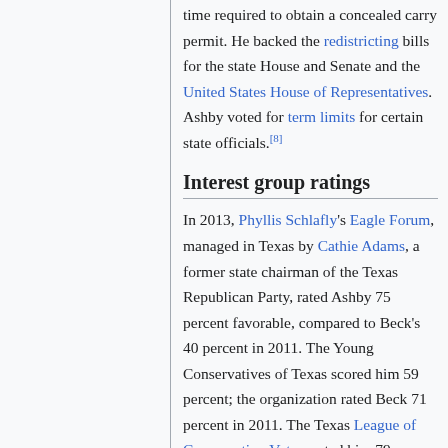time required to obtain a concealed carry permit. He backed the redistricting bills for the state House and Senate and the United States House of Representatives. Ashby voted for term limits for certain state officials.[8]
Interest group ratings
In 2013, Phyllis Schlafly's Eagle Forum, managed in Texas by Cathie Adams, a former state chairman of the Texas Republican Party, rated Ashby 75 percent favorable, compared to Beck's 40 percent in 2011. The Young Conservatives of Texas scored him 59 percent; the organization rated Beck 71 percent in 2011. The Texas League of Conservation Voters rated him 79 percent; a similar group Environment Texas rated him 50 percent. The interest group Texans for Fiscal Responsibility